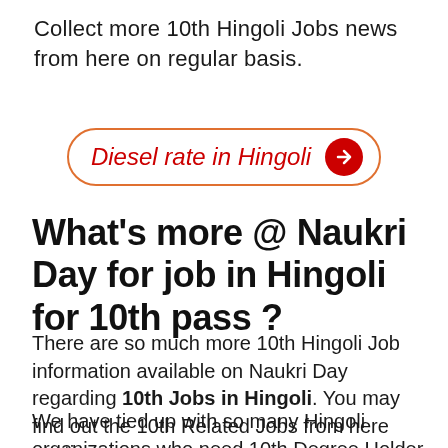Collect more 10th Hingoli Jobs news from here on regular basis.
[Figure (other): Banner/button with text 'Diesel rate in Hingoli' in red italic text inside an orange rounded rectangle border, with a red circle arrow button on the right]
What's more @ Naukri Day for job in Hingoli for 10th pass ?
There are so much more 10th Hingoli Job information available on Naukri Day regarding 10th Jobs in Hingoli. You may find out the 10th Related Jobs from here anytime.
We have tied up with so many Hingoli organizations who need 10th Degree Holder Employees on frequent basis. Well you will be